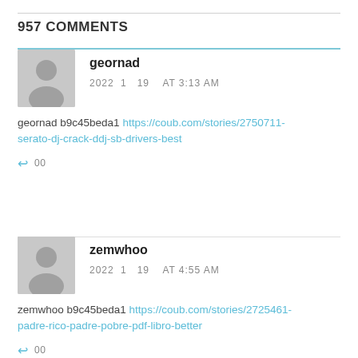957 COMMENTS
geornad
2022 1 19 AT 3:13 AM

geornad b9c45beda1 https://coub.com/stories/2750711-serato-dj-crack-ddj-sb-drivers-best
zemwhoo
2022 1 19 AT 4:55 AM

zemwhoo b9c45beda1 https://coub.com/stories/2725461-padre-rico-padre-pobre-pdf-libro-better